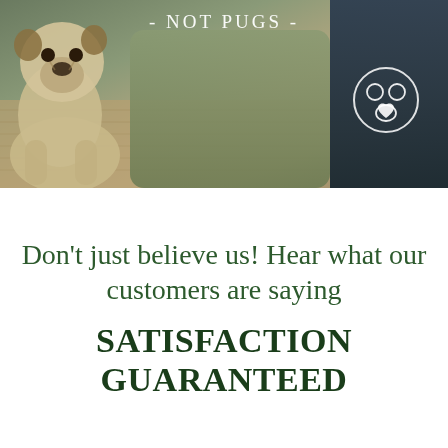[Figure (photo): Photo of a pug dog sitting on a textured blanket on a couch with green and dark navy pillows. White text overlay reads '- NOT PUGS -' with a paw print icon with a heart.]
Don't just believe us! Hear what our customers are saying
SATISFACTION GUARANTEED